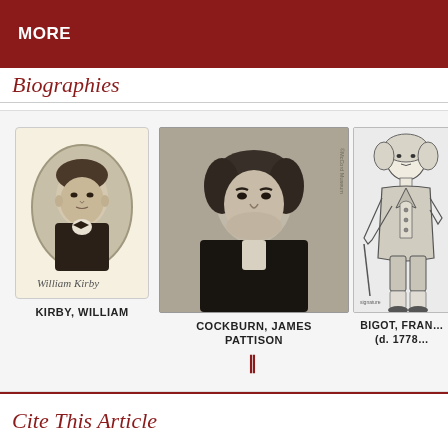MORE
Biographies
[Figure (photo): Oval portrait illustration of William Kirby with signature below]
KIRBY, WILLIAM
[Figure (photo): Photographic portrait of Cockburn, James Pattison with museum watermark]
COCKBURN, JAMES PATTISON
[Figure (illustration): Sketch illustration of Bigot, François (d. 1778) partially visible]
BIGOT, FRAN… (d. 1778…
Cite This Article